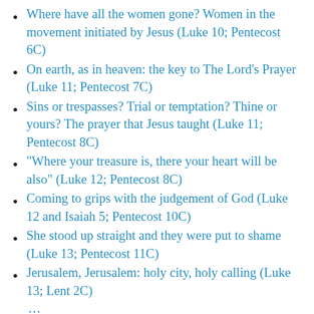Where have all the women gone? Women in the movement initiated by Jesus (Luke 10; Pentecost 6C)
On earth, as in heaven: the key to The Lord's Prayer (Luke 11; Pentecost 7C)
Sins or trespasses? Trial or temptation? Thine or yours? The prayer that Jesus taught (Luke 11; Pentecost 8C)
“Where your treasure is, there your heart will be also” (Luke 12; Pentecost 8C)
Coming to grips with the judgement of God (Luke 12 and Isaiah 5; Pentecost 10C)
She stood up straight and they were put to shame (Luke 13; Pentecost 11C)
Jerusalem, Jerusalem: holy city, holy calling (Luke 13; Lent 2C)
...